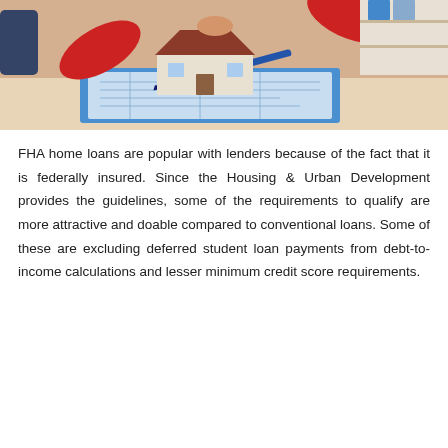[Figure (photo): A person in a red sweater holding a small model house over architectural blueprints on a clipboard, with a pen nearby and office shelving in the background.]
FHA home loans are popular with lenders because of the fact that it is federally insured. Since the Housing & Urban Development provides the guidelines, some of the requirements to qualify are more attractive and doable compared to conventional loans. Some of these are excluding deferred student loan payments from debt-to-income calculations and lesser minimum credit score requirements.